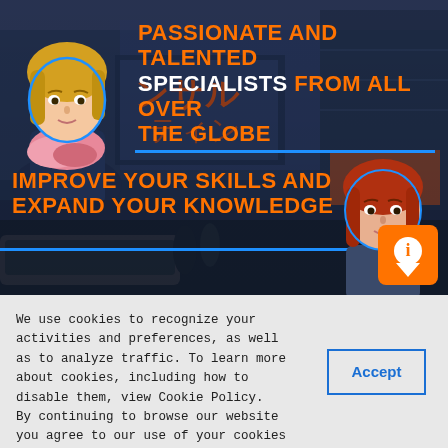[Figure (illustration): Hero banner with city street background (Tokyo-style), illustrated person on left (blonde woman with pink scarf), illustrated person on right (redhead woman), orange info badge with 'i' icon, and two bold promotional text overlays]
PASSIONATE AND TALENTED SPECIALISTS FROM ALL OVER THE GLOBE
IMPROVE YOUR SKILLS AND EXPAND YOUR KNOWLEDGE
We use cookies to recognize your activities and preferences, as well as to analyze traffic. To learn more about cookies, including how to disable them, view Cookie Policy.
By continuing to browse our website you agree to our use of your cookies and to our Cookie Policy.